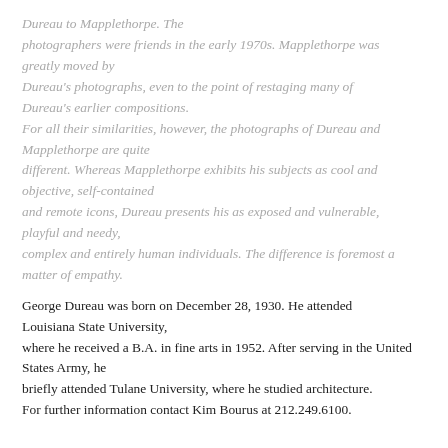Dureau to Mapplethorpe. The photographers were friends in the early 1970s. Mapplethorpe was greatly moved by Dureau's photographs, even to the point of restaging many of Dureau's earlier compositions. For all their similarities, however, the photographs of Dureau and Mapplethorpe are quite different. Whereas Mapplethorpe exhibits his subjects as cool and objective, self-contained and remote icons, Dureau presents his as exposed and vulnerable, playful and needy, complex and entirely human individuals. The difference is foremost a matter of empathy.
George Dureau was born on December 28, 1930. He attended Louisiana State University, where he received a B.A. in fine arts in 1952. After serving in the United States Army, he briefly attended Tulane University, where he studied architecture. For further information contact Kim Bourus at 212.249.6100.